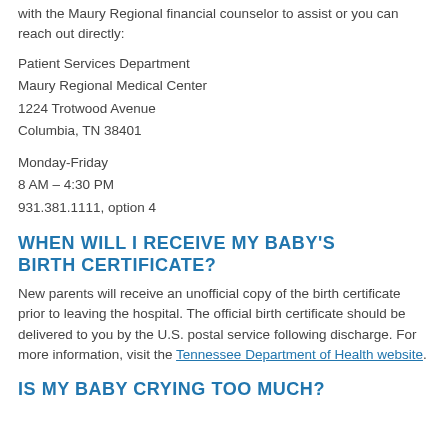with the Maury Regional financial counselor to assist or you can reach out directly:
Patient Services Department
Maury Regional Medical Center
1224 Trotwood Avenue
Columbia, TN 38401
Monday-Friday
8 AM – 4:30 PM
931.381.1111, option 4
WHEN WILL I RECEIVE MY BABY'S BIRTH CERTIFICATE?
New parents will receive an unofficial copy of the birth certificate prior to leaving the hospital. The official birth certificate should be delivered to you by the U.S. postal service following discharge. For more information, visit the Tennessee Department of Health website.
IS MY BABY CRYING TOO MUCH?